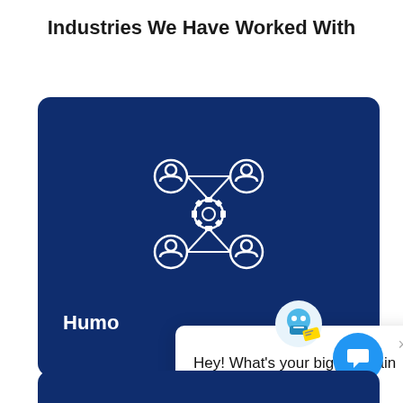Industries We Have Worked With
[Figure (illustration): Dark blue rounded card with a network/human-resources icon (four person icons connected to a central gear icon) and partial label text 'Humo' visible at the bottom left]
[Figure (screenshot): Chat popup widget with robot avatar, close button (×), and message: 'Hey! What's your biggest pain point right now?']
[Figure (other): Blue circular chat button with speech bubble icon at bottom right]
[Figure (illustration): Second dark blue rounded card partially visible at the bottom of the page]